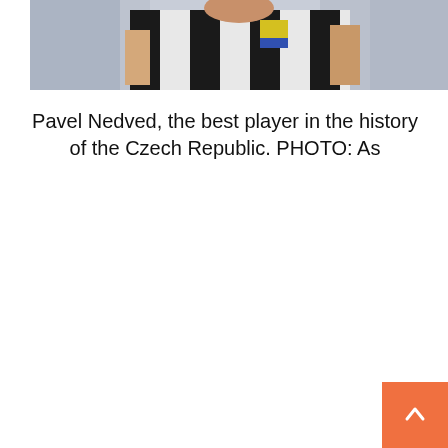[Figure (photo): A photo of Pavel Nedved, a footballer wearing a black and white striped jersey, shown from the shoulders up, arms visible]
Pavel Nedved, the best player in the history of the Czech Republic. PHOTO: As